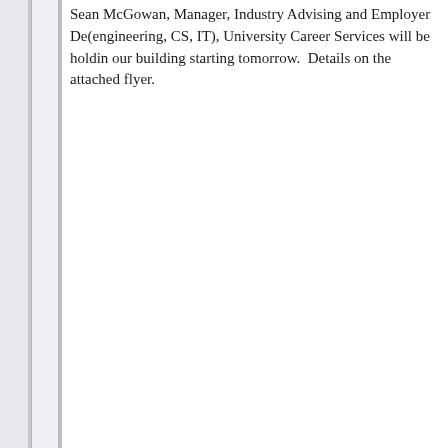Sean McGowan, Manager, Industry Advising and Employer De... (engineering, CS, IT), University Career Services will be holdin... our building starting tomorrow.  Details on the attached flyer.